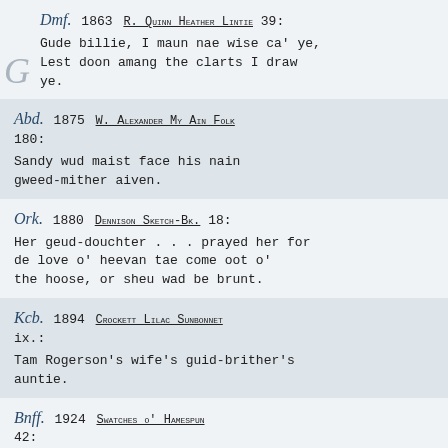Dmf. 1863 R. Quinn Heather Lintie 39: Gude billie, I maun nae wise ca' ye, Lest doon amang the clarts I draw ye.
Abd. 1875 W. Alexander My Ain Folk 180: Sandy wud maist face his nain gweed-mither aiven.
Ork. 1880 Dennison Sketch-Bk. 18: Her geud-douchter . . . prayed her for de love o' heevan tae come oot o' the hoose, or sheu wad be brunt.
Kcb. 1894 Crockett Lilac Sunbonnet ix.: Tam Rogerson's wife's guid-brither's auntie.
Bnff. 1924 Swatches o' Hamespun 42: Bit gin ye maan hae a gweedsin, fat say ye te Jimmie here?
m.Sc. 1927 J. Buchan Witch Wood v.: The laird's gude-sister, Mistress